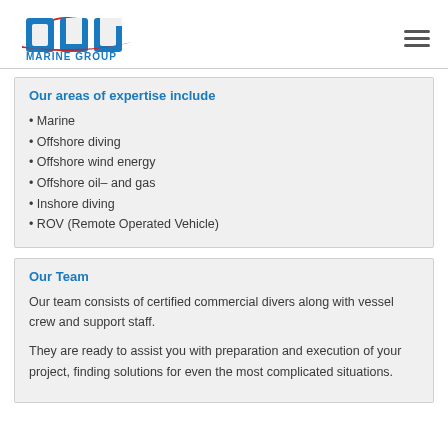[Figure (logo): DUC Marine Group logo with red stylized letters and blue 'MARINE GROUP' text]
Our areas of expertise include
Marine
Offshore diving
Offshore wind energy
Offshore oil- and gas
Inshore diving
ROV (Remote Operated Vehicle)
Our Team
Our team consists of certified commercial divers along with vessel crew and support staff.
They are ready to assist you with preparation and execution of your project, finding solutions for even the most complicated situations.